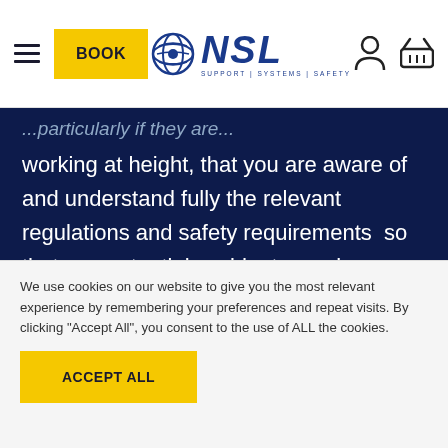NSL — BOOK header with hamburger menu, logo, and icons
working at height, that you are aware of and understand fully the relevant regulations and safety requirements  so that any potential accidents can be avoided.
This course is a half day awareness course and can be
We use cookies on our website to give you the most relevant experience by remembering your preferences and repeat visits. By clicking "Accept All", you consent to the use of ALL the cookies.